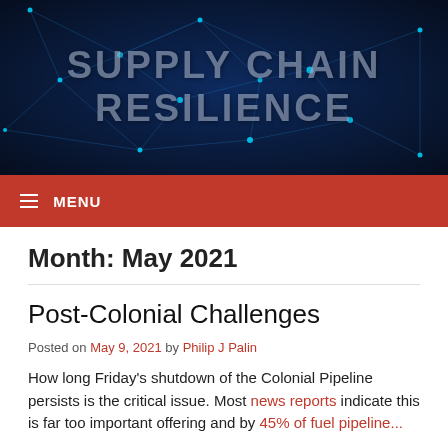[Figure (illustration): Dark blue network/connectivity background image with glowing cyan nodes and connecting lines, overlaid with large semi-transparent text reading SUPPLY CHAIN RESILIENCE]
≡ MENU
Month: May 2021
Post-Colonial Challenges
Posted on May 9, 2021 by Philip J Palin
How long Friday's shutdown of the Colonial Pipeline persists is the critical issue. Most news reports indicate this is far too important offering and by 45% of fuel pipeline...